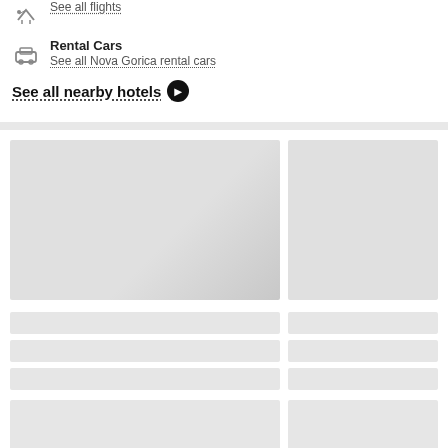See all flights
Rental Cars
See all Nova Gorica rental cars
See all nearby hotels ❯
[Figure (screenshot): Loading skeleton UI with two image placeholders side by side (large left, smaller right) and three rows of bar skeletons below, plus a final wide tall bar pair at the bottom.]